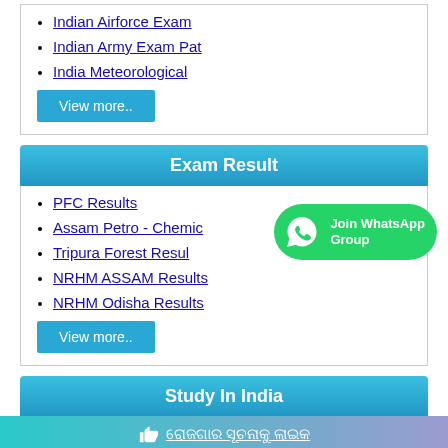Indian Airforce Exam
Indian Army Exam Pat
India Meteorological
View more..
Exam Result
PFC Results
Assam Petro - Chemic
Tripura Forest Resul
NRHM ASSAM Results
NRHM Odisha Results
View more..
[Figure (other): Join WhatsApp Group button with WhatsApp logo icon]
Study In India
E.M.G. Yadava Womens
👍 ରୋଜଗାର ସୂଚନାକୁ ଲାଇକ